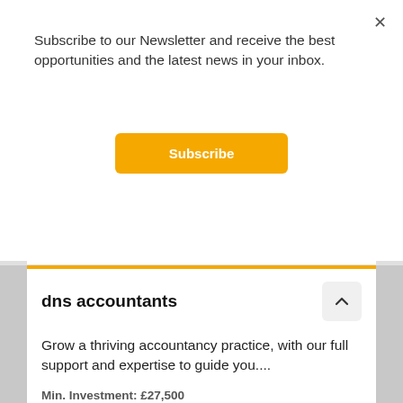Subscribe to our Newsletter and receive the best opportunities and the latest news in your inbox.
Subscribe
[Figure (logo): dns accountants logo with diagonal lines icon and bold text 'dns accountants']
dns accountants
Grow a thriving accountancy practice, with our full support and expertise to guide you....
Min. Investment: £27,500